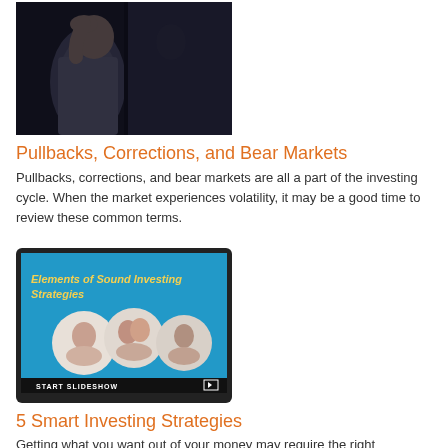[Figure (photo): Man in grey shirt leaning against window with hand on head, dark moody lighting]
Pullbacks, Corrections, and Bear Markets
Pullbacks, corrections, and bear markets are all a part of the investing cycle. When the market experiences volatility, it may be a good time to review these common terms.
[Figure (screenshot): Tablet screen showing slideshow titled 'Elements of Sound Investing Strategies' with circular photos of people and 'START SLIDESHOW' button at bottom]
5 Smart Investing Strategies
Getting what you want out of your money may require the right